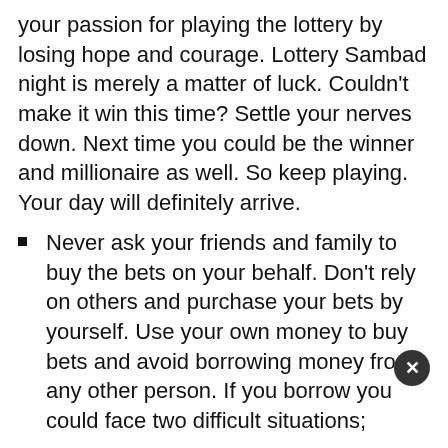your passion for playing the lottery by losing hope and courage. Lottery Sambad night is merely a matter of luck. Couldn't make it win this time? Settle your nerves down. Next time you could be the winner and millionaire as well. So keep playing. Your day will definitely arrive.
Never ask your friends and family to buy the bets on your behalf. Don't rely on others and purchase your bets by yourself. Use your own money to buy bets and avoid borrowing money from any other person. If you borrow you could face two difficult situations;
In case if you lose the game, it would be difficult for you to repay the lender.
Maybe the person who is lending you the money demands half the amount of your winning prize. Be logical, be optimistic, be patient and keep playing Dear Lottery Sambad.
Don't act childish while choosing the number. Avoid